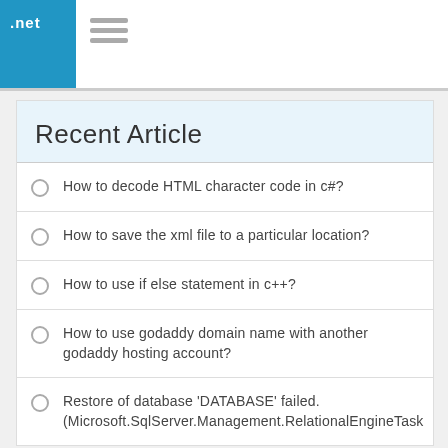.net
Recent Article
How to decode HTML character code in c#?
How to save the xml file to a particular location?
How to use if else statement in c++?
How to use godaddy domain name with another godaddy hosting account?
Restore of database 'DATABASE' failed. (Microsoft.SqlServer.Management.RelationalEngineTask